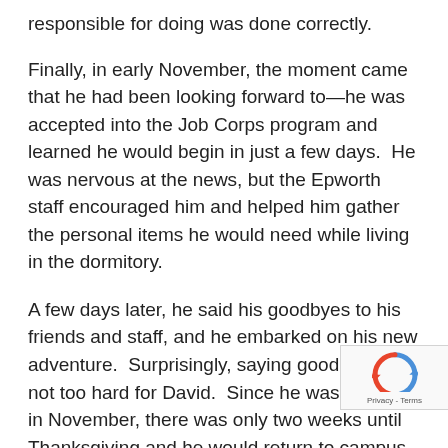responsible for doing was done correctly.
Finally, in early November, the moment came that he had been looking forward to—he was accepted into the Job Corps program and learned he would begin in just a few days.  He was nervous at the news, but the Epworth staff encouraged him and helped him gather the personal items he would need while living in the dormitory.
A few days later, he said his goodbyes to his friends and staff, and he embarked on his new adventure.  Surprisingly, saying goodbye was not too hard for David.  Since he was starting in November, there was only two weeks until Thanksgiving and he would return to campus.  He also knew that just a few after that he would be back for Christmas brea timing was great for David to adjust to his new